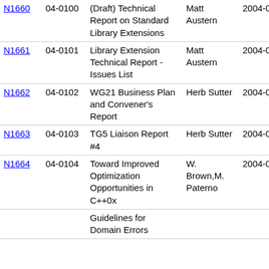| Doc | Paper | Title | Author | Date | ... |
| --- | --- | --- | --- | --- | --- |
| N1660 | 04-0100 | (Draft) Technical Report on Standard Library Extensions | Matt Austern | 2004-07-16 | 04-0... |
| N1661 | 04-0101 | Library Extension Technical Report - Issues List | Matt Austern | 2004-07-?? | 04-0... |
| N1662 | 04-0102 | WG21 Business Plan and Convener's Report | Herb Sutter | 2004-07-16 | 04-0... |
| N1663 | 04-0103 | TG5 Liaison Report #4 | Herb Sutter | 2004-07-05 | 04-0... |
| N1664 | 04-0104 | Toward Improved Optimization Opportunities in C++0x | W. Brown,M. Paterno | 2004-07-16 | 04-0... |
|  |  | Guidelines for Domain Errors |  |  |  |